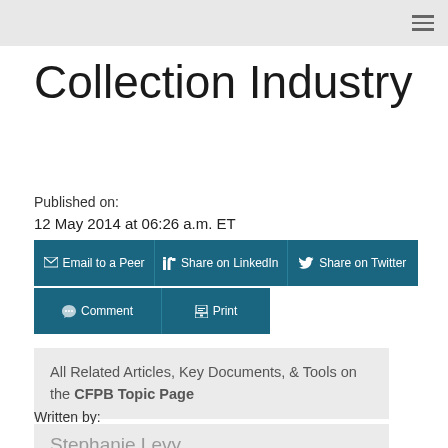Collection Industry
Published on:
12 May 2014 at 06:26 a.m. ET
Email to a Peer | Share on LinkedIn | Share on Twitter | Comment | Print
All Related Articles, Key Documents, & Tools on the CFPB Topic Page
Written by:
Stephanie Levy